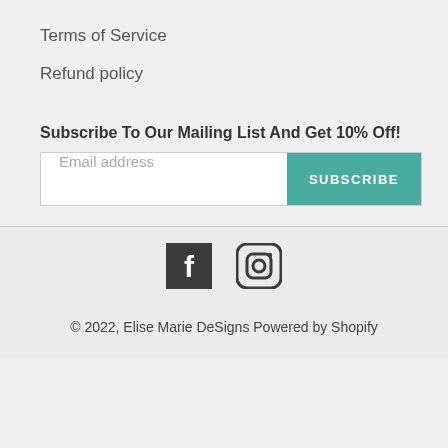Terms of Service
Refund policy
Subscribe To Our Mailing List And Get 10% Off!
Email address | SUBSCRIBE
© 2022, Elise Marie DeSigns Powered by Shopify